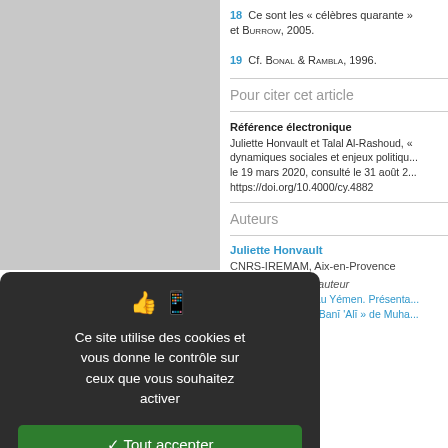[Figure (screenshot): Gray background area representing a page or image thumbnail]
18   Ce sont les « célèbres quarante » et BURROW, 2005.
19   Cf. BONAL & RAMBLA, 1996.
Pour citer cet article
Référence électronique
Juliette Honvault et Talal Al-Rashoud, « dynamiques sociales et enjeux politiqu... le 19 mars 2020, consulté le 31 août 2... https://doi.org/10.4000/cy.4882
Auteurs
Juliette Honvault
CNRS-IREMAM, Aix-en-Provence
Articles du même auteur
Mémoires d'école au Yémen. Présenta...
L'école al-Ba'th de Banī 'Alī » de Muha...
[Figure (screenshot): Cookie consent modal dialog with dark background. Contains text: Ce site utilise des cookies et vous donne le contrôle sur ceux que vous souhaitez activer. Three buttons: Tout accepter (green), Tout refuser (dark red), Personnaliser (white). Link: Politique de confidentialité.]